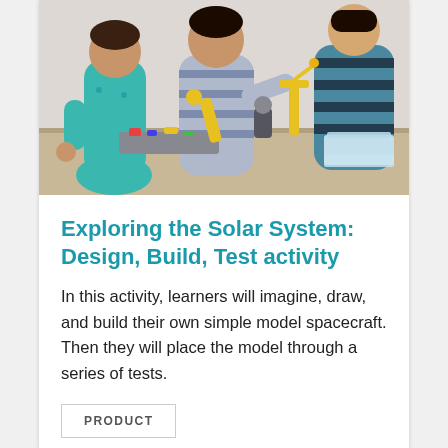[Figure (photo): Three children working together at a table, building model spacecraft and robotic figures using construction kits with yellow and grey parts. Plastic storage containers and building materials are spread across the table.]
Exploring the Solar System: Design, Build, Test activity
In this activity, learners will imagine, draw, and build their own simple model spacecraft. Then they will place the model through a series of tests.
PRODUCT